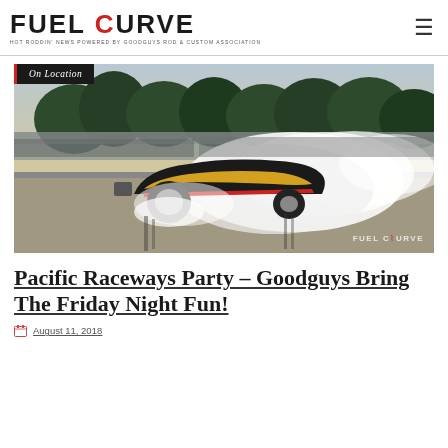FUEL CURVE — HOT RODDIN' NEWS POWERED BY GOODGUYS ROD & CUSTOM ASSOCIATION
[Figure (photo): Drag racing funny car doing a burnout on a dragstrip with smoke and crowd in background. Watermark reads FUEL CURVE at bottom right. Badge overlay reads 'On Location'.]
Pacific Raceways Party – Goodguys Bring The Friday Night Fun!
August 11, 2018